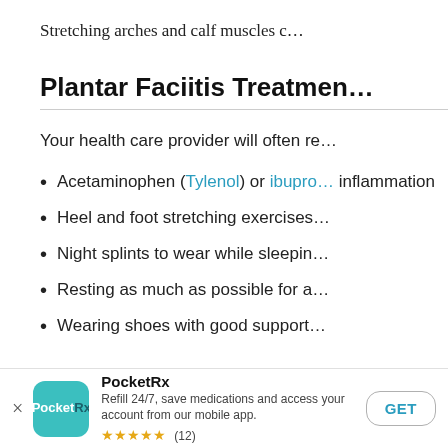Stretching arches and calf muscles c…
Plantar Faciitis Treatmen…
Your health care provider will often re…
Acetaminophen (Tylenol) or ibupro… inflammation
Heel and foot stretching exercises…
Night splints to wear while sleepin…
Resting as much as possible for a…
Wearing shoes with good support…
[Figure (screenshot): PocketRx app banner with icon, name, description, star rating (12 reviews), and GET button]